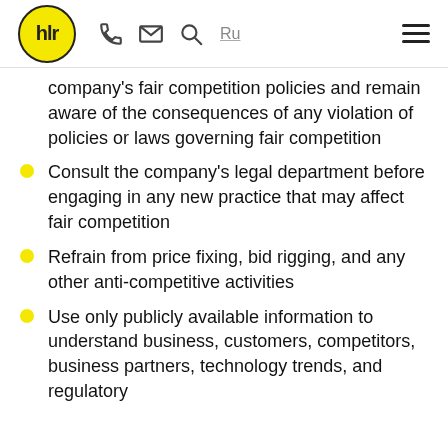hlr — header with logo, phone, email, search, Ru, and menu icons
company's fair competition policies and remain aware of the consequences of any violation of policies or laws governing fair competition
Consult the company's legal department before engaging in any new practice that may affect fair competition
Refrain from price fixing, bid rigging, and any other anti-competitive activities
Use only publicly available information to understand business, customers, competitors, business partners, technology trends, and regulatory